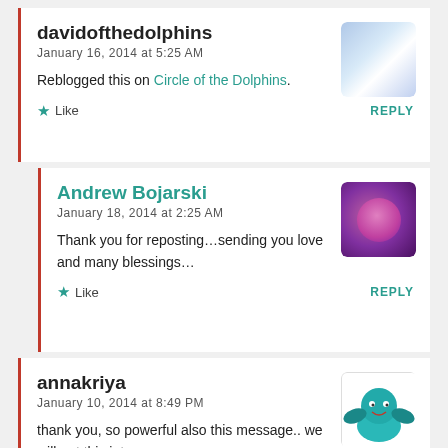davidofthedolphins
January 16, 2014 at 5:25 AM
Reblogged this on Circle of the Dolphins.
Like  REPLY
Andrew Bojarski
January 18, 2014 at 2:25 AM
Thank you for reposting…sending you love and many blessings…
Like  REPLY
annakriya
January 10, 2014 at 8:49 PM
thank you, so powerful also this message.. we will put this into